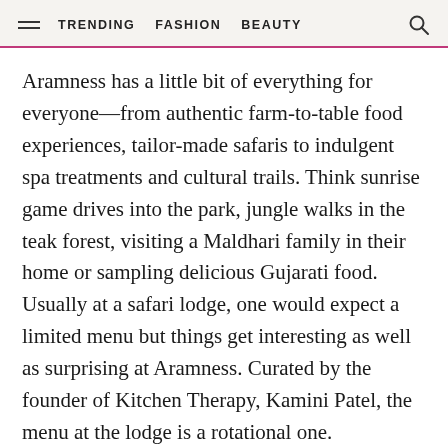TRENDING  FASHION  BEAUTY
Aramness has a little bit of everything for everyone—from authentic farm-to-table food experiences, tailor-made safaris to indulgent spa treatments and cultural trails. Think sunrise game drives into the park, jungle walks in the teak forest, visiting a Maldhari family in their home or sampling delicious Gujarati food. Usually at a safari lodge, one would expect a limited menu but things get interesting as well as surprising at Aramness. Curated by the founder of Kitchen Therapy, Kamini Patel, the menu at the lodge is a rotational one. Depending on the time of year, season and